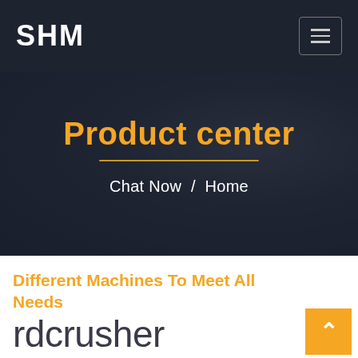SHM
Product center
Chat Now / Home
Different Machines To Meet All Needs
rdcrusher